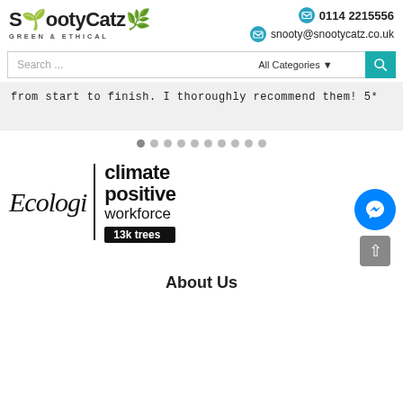[Figure (logo): SnootyCatz Green & Ethical logo with leaf icons]
0114 2215556
snooty@snootycatz.co.uk
Search ...
All Categories
from start to finish. I thoroughly recommend them! 5*
[Figure (infographic): Ecologi climate positive workforce 13k trees badge]
About Us